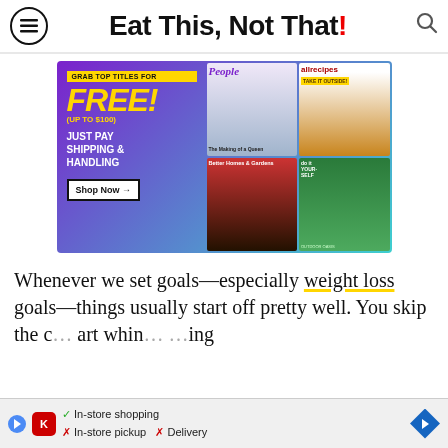Eat This, Not That!
[Figure (infographic): Advertisement banner: 'GRAB TOP TITLES FOR FREE! (UP TO $100) JUST PAY SHIPPING & HANDLING — Shop Now →' with magazine covers for People, allrecipes, Better Homes & Gardens, Do It Yourself on a purple-to-teal gradient background.]
Whenever we set goals—especially weight loss goals—things usually start off pretty well. You skip the c... art whin... ...ing
[Figure (infographic): Bottom ad bar: In-store shopping ✓, In-store pickup ✗, Delivery ✗ with Kroger and navigation icons.]